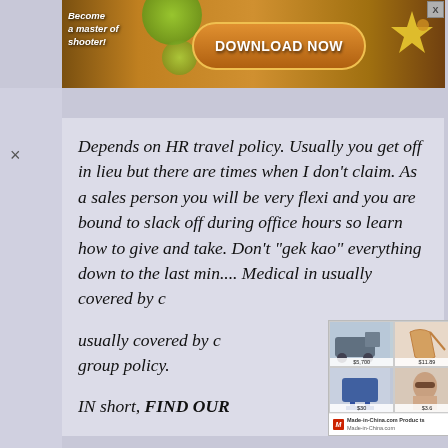[Figure (screenshot): Top ad banner with orange 'DOWNLOAD NOW' button, game shooter theme, starfish decoration on right, left text 'Become a master of shooter!']
Depends on HR travel policy. Usually you get off in lieu but there are times when I don't claim. As a sales person you will be very flexi and you are bound to slack off during office hours so learn how to give and take. Don't "gek kao" everything down to the last min.... Medical in[surance] usually covered by c[ompany] group policy.
IN short, FIND OUR
[Figure (screenshot): Made-in-China.com advertisement overlay showing product images (truck, heels, shoes, chair, woman with sunglasses, machinery) with prices like $5,700, $11.89, $4.8, $30, $3.6]